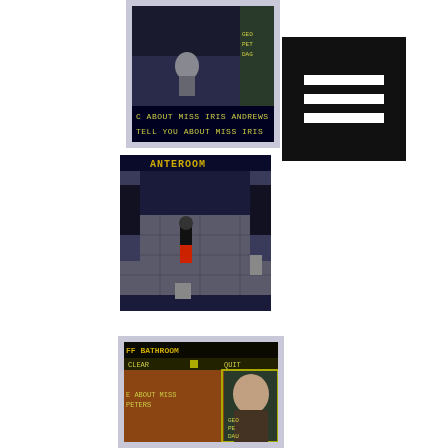[Figure (screenshot): Pixel-art isometric game screenshot showing a character in a dark environment with text at the bottom reading 'C ABOUT MISS IRIS ANDREWS' and 'TELL YOU ABOUT MISS IRIS']
[Figure (screenshot): Pixel-art isometric game screenshot labeled 'ANTEROOM' at the top, showing a room with tiled floor, doors, and characters including one in black and one in red]
[Figure (screenshot): Pixel-art game screenshot labeled 'FF BATHROOM' at top with 'CLEAR', 'QUIT' UI elements, text reading 'E ABOUT MISS PETERS', and character portrait on right side labeled GEO PE DAU]
[Figure (screenshot): Black square with three horizontal white lines (hamburger menu icon)]